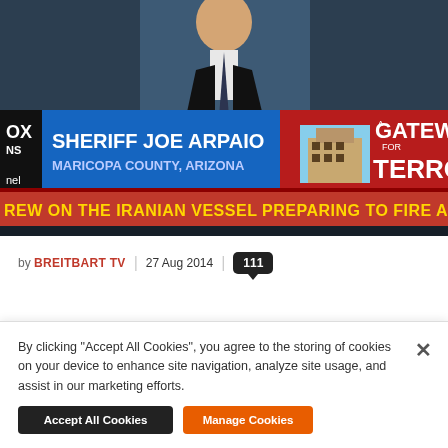[Figure (screenshot): Fox News screenshot showing Sheriff Joe Arpaio, Maricopa County, Arizona on a blue lower-third banner, with a red panel on the right reading 'Gateway for Terror', and a red ticker bar at the bottom reading 'REW ON THE IRANIAN VESSEL PREPARING TO FIRE A MAC']
by BREITBART TV | 27 Aug 2014 | 111
By clicking "Accept All Cookies", you agree to the storing of cookies on your device to enhance site navigation, analyze site usage, and assist in our marketing efforts.